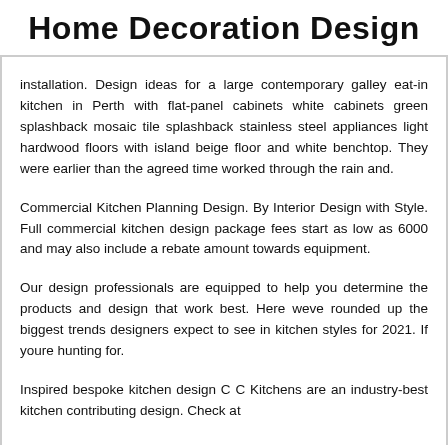Home Decoration Design
installation. Design ideas for a large contemporary galley eat-in kitchen in Perth with flat-panel cabinets white cabinets green splashback mosaic tile splashback stainless steel appliances light hardwood floors with island beige floor and white benchtop. They were earlier than the agreed time worked through the rain and.
Commercial Kitchen Planning Design. By Interior Design with Style. Full commercial kitchen design package fees start as low as 6000 and may also include a rebate amount towards equipment.
Our design professionals are equipped to help you determine the products and design that work best. Here weve rounded up the biggest trends designers expect to see in kitchen styles for 2021. If youre hunting for.
Inspired bespoke kitchen design C C Kitchens are an industry-best kitchen contributing design. Check at…